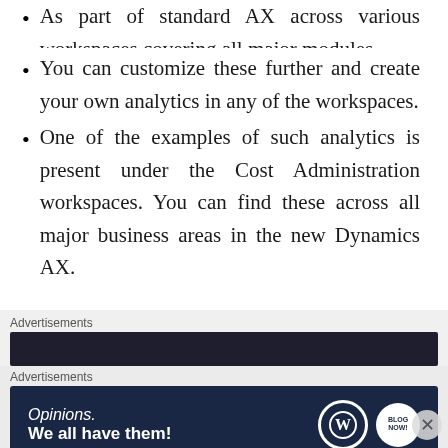As part of standard AX across various workspaces covering all major modules.
You can customize these further and create your own analytics in any of the workspaces.
One of the examples of such analytics is present under the Cost Administration workspaces. You can find these across all major business areas in the new Dynamics AX.
Advertisements
[Figure (other): Dark advertisement banner bar]
Advertisements
[Figure (other): Advertisement banner: Opinions. We all have them! with WordPress and another logo]